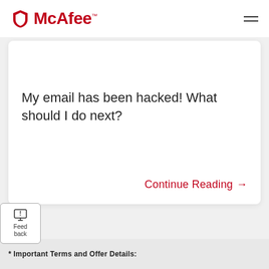McAfee™
My email has been hacked! What should I do next?
Continue Reading →
Feedback
* Important Terms and Offer Details: